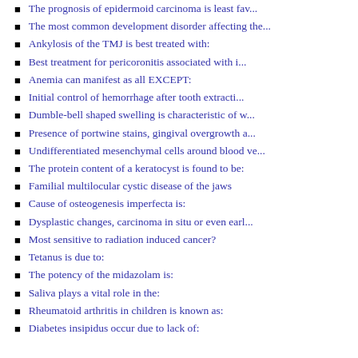The prognosis of epidermoid carcinoma is least fav...
The most common development disorder affecting the...
Ankylosis of the TMJ is best treated with:
Best treatment for pericoronitis associated with i...
Anemia can manifest as all EXCEPT:
Initial control of hemorrhage after tooth extracti...
Dumble-bell shaped swelling is characteristic of w...
Presence of portwine stains, gingival overgrowth a...
Undifferentiated mesenchymal cells around blood ve...
The protein content of a keratocyst is found to be:
Familial multilocular cystic disease of the jaws
Cause of osteogenesis imperfecta is:
Dysplastic changes, carcinoma in situ or even earl...
Most sensitive to radiation induced cancer?
Tetanus is due to:
The potency of the midazolam is:
Saliva plays a vital role in the:
Rheumatoid arthritis in children is known as:
Diabetes insipidus occur due to lack of: